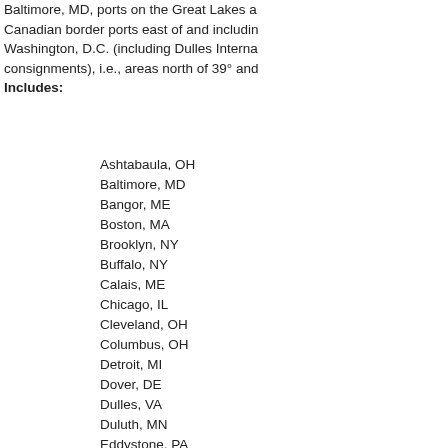Baltimore, MD, ports on the Great Lakes a Canadian border ports east of and includin Washington, D.C. (including Dulles Interna consignments), i.e., areas north of 39° and Includes:
Ashtabaula, OH
Baltimore, MD
Bangor, ME
Boston, MA
Brooklyn, NY
Buffalo, NY
Calais, ME
Chicago, IL
Cleveland, OH
Columbus, OH
Detroit, MI
Dover, DE
Dulles, VA
Duluth, MN
Eddystone, PA
Elizabeth, NJ
Erlanger, KY
Greenbay, WI
Groton, CT
Harrisburg, PA
Hartford, CT
Houlton, ME
Jackman, ME
Jamaica, NY
Kansas City, MO